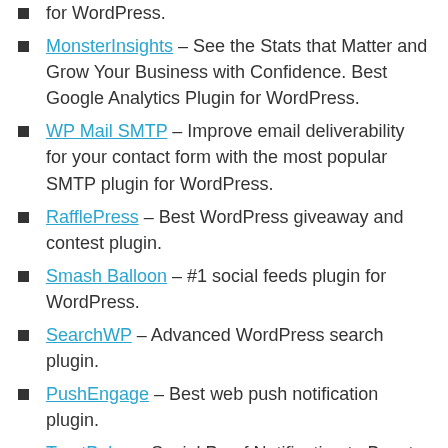for WordPress.
MonsterInsights – See the Stats that Matter and Grow Your Business with Confidence. Best Google Analytics Plugin for WordPress.
WP Mail SMTP – Improve email deliverability for your contact form with the most popular SMTP plugin for WordPress.
RafflePress – Best WordPress giveaway and contest plugin.
Smash Balloon – #1 social feeds plugin for WordPress.
SearchWP – Advanced WordPress search plugin.
PushEngage – Best web push notification plugin.
TrustPulse – Social Proof Notification to Boost Conversions.
All In One SEO – Best WordPress SEO plugin to help you improve your search engine rankings.
Easy Digital Downloads – From eBooks, to WordPress plugins, to PDF files and more, we